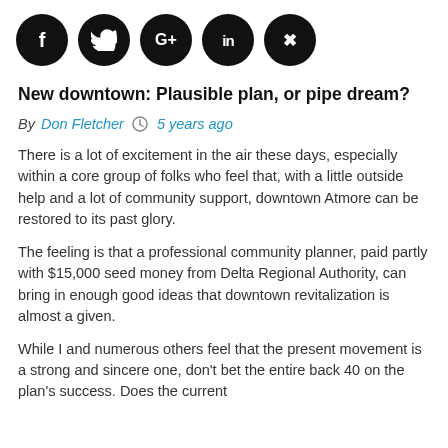[Figure (other): Row of five circular black social media icons: Facebook (f), Twitter (bird/y), Google+ (G+), LinkedIn (in), Pinterest (p)]
New downtown: Plausible plan, or pipe dream?
By Don Fletcher   5 years ago
There is a lot of excitement in the air these days, especially within a core group of folks who feel that, with a little outside help and a lot of community support, downtown Atmore can be restored to its past glory.
The feeling is that a professional community planner, paid partly with $15,000 seed money from Delta Regional Authority, can bring in enough good ideas that downtown revitalization is almost a given.
While I and numerous others feel that the present movement is a strong and sincere one, don't bet the entire back 40 on the plan's success. Does the current plan have credibility? Or is it into the wind...